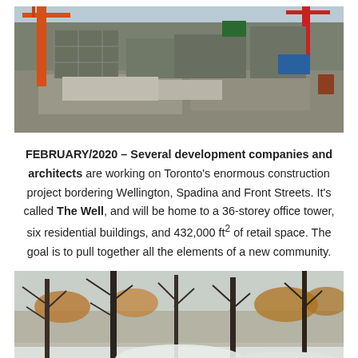[Figure (photo): Aerial view of a large construction site in Toronto, with cranes, scaffolding, building foundations, and construction equipment visible from above.]
FEBRUARY/2020 – Several development companies and architects are working on Toronto's enormous construction project bordering Wellington, Spadina and Front Streets. It's called The Well, and will be home to a 36-storey office tower, six residential buildings, and 432,000 ft² of retail space. The goal is to pull together all the elements of a new community.
[Figure (photo): Winter scene with bare trees and snow-covered ground, leafless branches against a pale sky with some orange-brown foliage still remaining.]